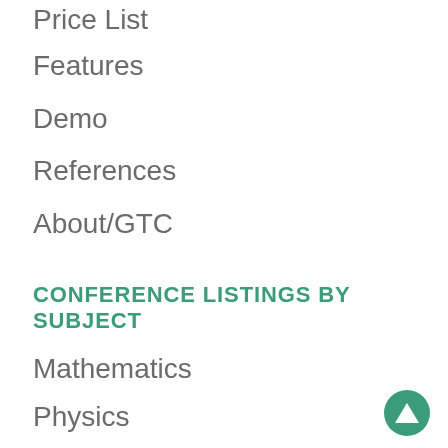Price List
Features
Demo
References
About/GTC
CONFERENCE LISTINGS BY SUBJECT
Mathematics
Physics
Chemistry
Informatics
Engineering